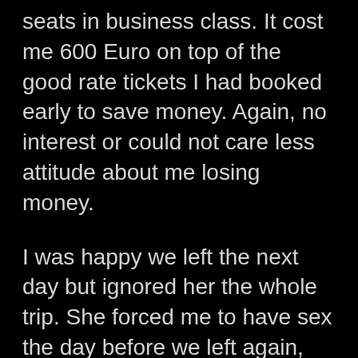seats in business class. It cost me 600 Euro on top of the good rate tickets I had booked early to save money. Again, no interest or could not care less attitude about me losing money.
I was happy we left the next day but ignored her the whole trip. She forced me to have sex the day before we left again, her control games but I refused her in Thailand. I just could not. I do not immerse myself in sex in Thailand. I'm in my hotel in soi 4 alone every day but just use my laptop or watch TV. I do go drinking in the evening with her brother and then I do partake in the odd freelancer. I also go for a massage now and then and none of this she seems to notice or care about. If she did I'm just a butterfly or bad man and never ever has it anything to do with